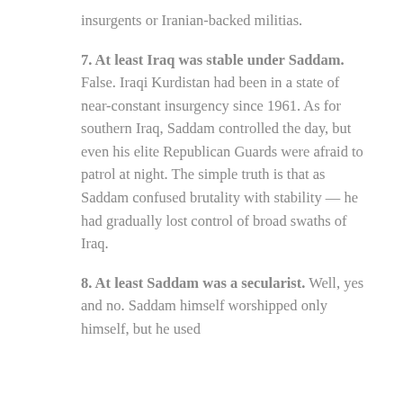insurgents or Iranian-backed militias.
7. At least Iraq was stable under Saddam. False. Iraqi Kurdistan had been in a state of near-constant insurgency since 1961. As for southern Iraq, Saddam controlled the day, but even his elite Republican Guards were afraid to patrol at night. The simple truth is that as Saddam confused brutality with stability — he had gradually lost control of broad swaths of Iraq.
8. At least Saddam was a secularist. Well, yes and no. Saddam himself worshipped only himself, but he used religion to...